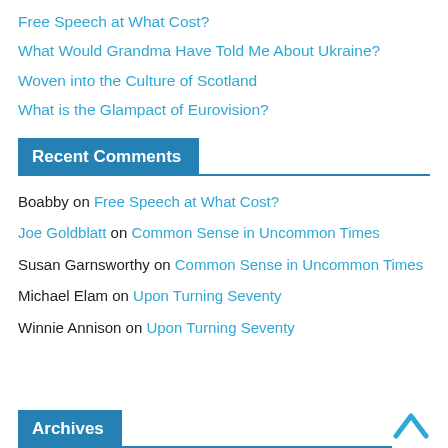Free Speech at What Cost?
What Would Grandma Have Told Me About Ukraine?
Woven into the Culture of Scotland
What is the Glampact of Eurovision?
Recent Comments
Boabby on Free Speech at What Cost?
Joe Goldblatt on Common Sense in Uncommon Times
Susan Garnsworthy on Common Sense in Uncommon Times
Michael Elam on Upon Turning Seventy
Winnie Annison on Upon Turning Seventy
Archives